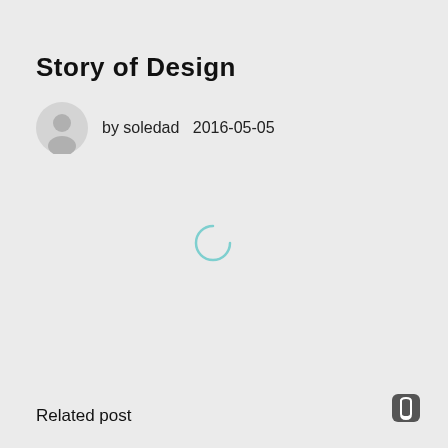Story of Design
by soledad  2016-05-05
[Figure (illustration): Loading spinner — a partial circle arc in light teal/cyan color indicating content is loading]
Related post